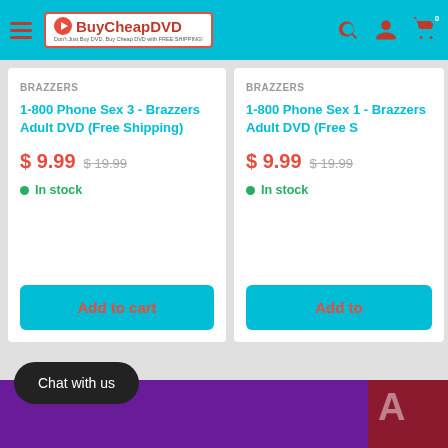BuyCheapDVD - Don't Just Buy DVD, Buy Cheap DVD with FREE SHIPPING!
BRAZZERS
1-800 Phone Sex 3 - Brazzers Adult DVD (Free Shipping)
$ 9.99  $ 19.99
In stock
Add to cart
BRAZZERS
1-800 Phone Sex 1 - Brazzers Adult DVD (Free S
$ 9.99  $ 19.99
In stock
Add to
Chat with us